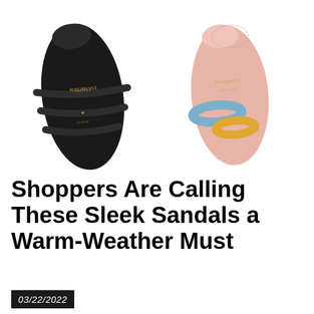[Figure (photo): Two sandals shown from above on white background: left sandal is black leather with three straps (Eva Mrosem brand label visible on footbed), right sandal is pink with blue and yellow/orange circular ring straps (Eva Mrosem brand label visible on pink footbed)]
Shoppers Are Calling These Sleek Sandals a Warm-Weather Must
03/22/2022